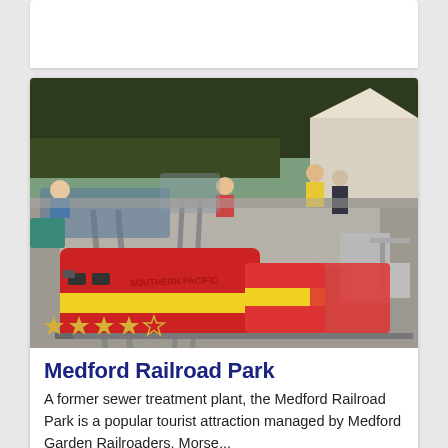[Figure (photo): A miniature red and yellow locomotive train at Medford Railroad Park with people riding and watching in the background, trees and a tent visible, taken outdoors on a sunny day. Stars rating overlay (approximately 4 out of 5 stars) visible in lower left of image.]
Medford Railroad Park
A former sewer treatment plant, the Medford Railroad Park is a popular tourist attraction managed by Medford Garden Railroaders, Morse...